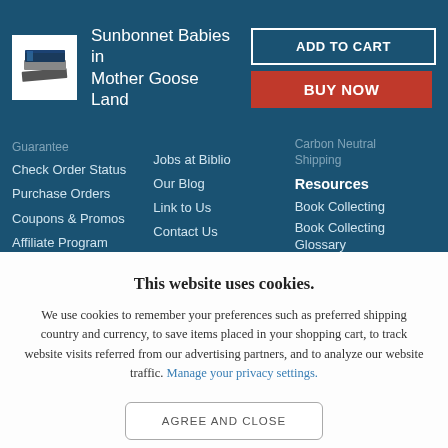[Figure (logo): Book stack icon in white box]
Sunbonnet Babies in Mother Goose Land
ADD TO CART
BUY NOW
Guarantee
Check Order Status
Purchase Orders
Coupons & Promos
Affiliate Program
Help & FAQs
Jobs at Biblio
Our Blog
Link to Us
Contact Us
Carbon Neutral Shipping
Resources
Book Collecting
Book Collecting Glossary
Sell Books On Biblio
This website uses cookies.
We use cookies to remember your preferences such as preferred shipping country and currency, to save items placed in your shopping cart, to track website visits referred from our advertising partners, and to analyze our website traffic. Manage your privacy settings.
AGREE AND CLOSE